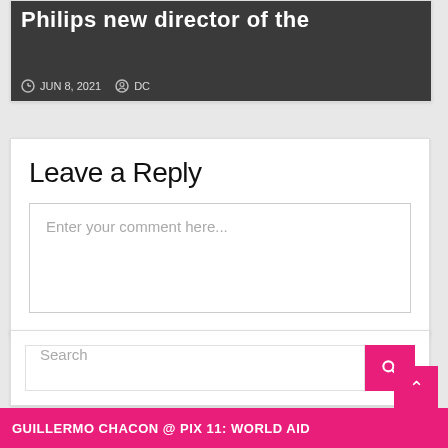[Figure (photo): Dark background photo of person in office/meeting setting with overlaid text 'Philips new director of the' and metadata showing JUN 8, 2021 and DC]
Leave a Reply
Enter your comment here...
Search
GUILLERMO CHACON @ PIX 11: WORLD AID